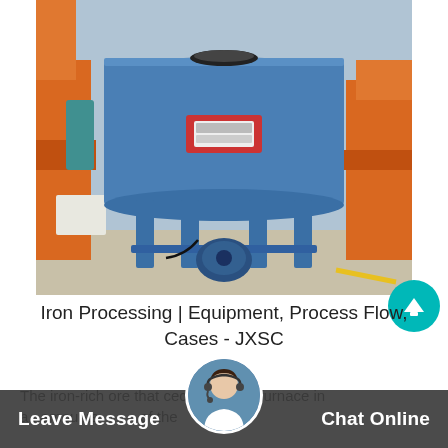[Figure (photo): A large blue industrial pan mixer/ore mixing machine on four blue legs with an electric motor attached, photographed outdoors in an industrial yard with orange machinery in the background.]
Iron Processing | Equipment, Process Flow, Cases - JXSC
The iron-rich ore that c...ectly into the furnace in ... ...amounts ... of the ...
Leave Message   Chat Online